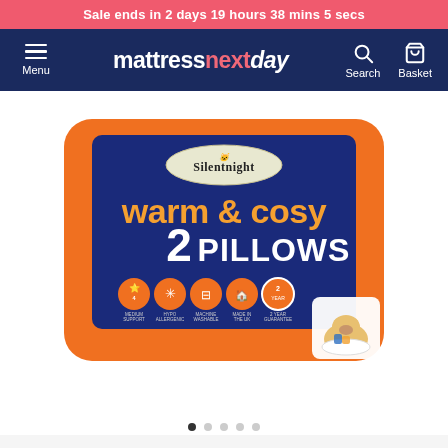Sale ends in 2 days 19 hours 38 mins 5 secs
[Figure (screenshot): MattressNextDay website navigation bar with hamburger menu, logo, search and basket icons on dark blue background]
[Figure (photo): Silentnight Warm & Cosy 2 Pillows product packaging — white pillow bag with orange border and dark blue label showing brand name, product name 'warm & cosy 2 PILLOWS', five feature icons (4 season support, hypo allergenic, machine washable, made in the UK, 2 year guarantee), and Silentnight bear mascot sleeping on a pillow in bottom right corner]